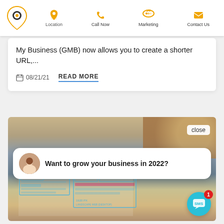Drive More Customers To Your Listing with | Call Now | Marketing | Contact Us
Drive More Customers To Your Listing with a Shorter Google My Business URL Google My Business (GMB) now allows you to create a shorter URL,...
08/21/21  READ MORE
[Figure (screenshot): Website screenshot showing a webpage with a food/breakfast image at top, a chat popup with a woman's avatar asking 'Want to grow your business in 2022?', a wireframe/layout design image below, and an SMS chat badge with notification count of 1 in the bottom right corner.]